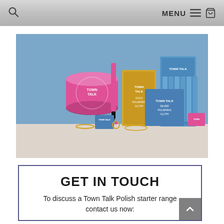🔍  MENU ☰ 🛒
[Figure (photo): Town Talk Polish product range displayed against a blue background, including a large pink jar, gold box (Gold Polishing Cloth), blue box display (Silver Polishing Cloth), a pink stylus pen, smaller blue and pink packets, and gold jewellery pieces.]
GET IN TOUCH
To discuss a Town Talk Polish starter range contact us now: